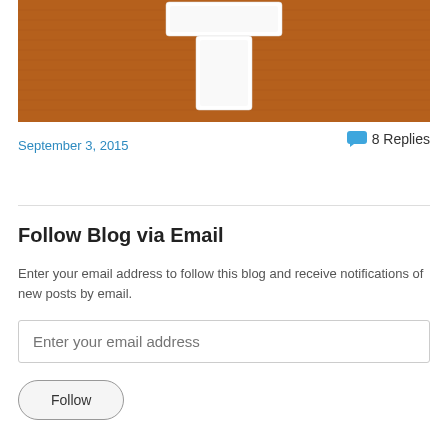[Figure (photo): Burnt orange knitted fabric background with a white felt letter 'T' patch in the center]
September 3, 2015
8 Replies
Follow Blog via Email
Enter your email address to follow this blog and receive notifications of new posts by email.